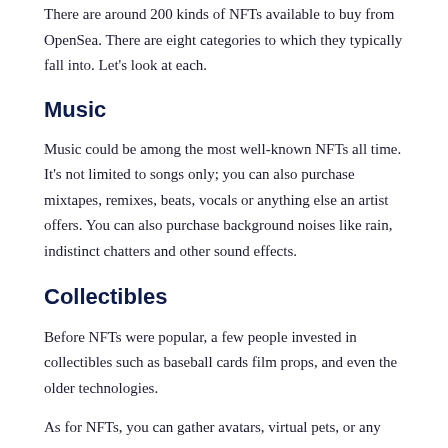There are around 200 kinds of NFTs available to buy from OpenSea. There are eight categories to which they typically fall into. Let's look at each.
Music
Music could be among the most well-known NFTs all time. It's not limited to songs only; you can also purchase mixtapes, remixes, beats, vocals or anything else an artist offers. You can also purchase background noises like rain, indistinct chatters and other sound effects.
Collectibles
Before NFTs were popular, a few people invested in collectibles such as baseball cards film props, and even the older technologies.
As for NFTs, you can gather avatars, virtual pets, or any other